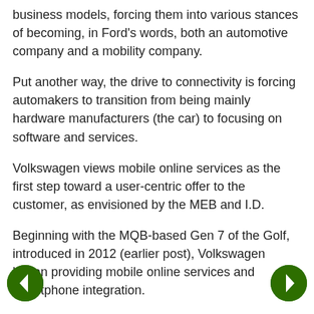business models, forcing them into various stances of becoming, in Ford's words, both an automotive company and a mobility company.
Put another way, the drive to connectivity is forcing automakers to transition from being mainly hardware manufacturers (the car) to focusing on software and services.
Volkswagen views mobile online services as the first step toward a user-centric offer to the customer, as envisioned by the MEB and I.D.
Beginning with the MQB-based Gen 7 of the Golf, introduced in 2012 (earlier post), Volkswagen began providing mobile online services and smartphone integration.
Today, Volkswagen's Car-Net offering includes three basic service packages: Guide & Inform for navigation and infotainment; Security & Service for the thee-way connection of the customer, the car, and Volkswagen; and